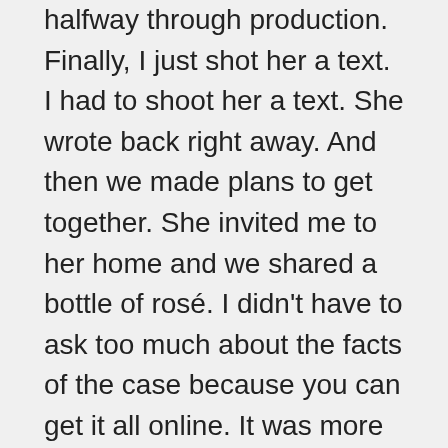halfway through production. Finally, I just shot her a text. I had to shoot her a text. She wrote back right away. And then we made plans to get together. She invited me to her home and we shared a bottle of rosé. I didn't have to ask too much about the facts of the case because you can get it all online. It was more just so I could get her feelings about certain relationships with certain people on the team. But, really, I just enjoyed her company and listened to her.
She wrote in my book. I brought her Jeffrey Toobin's book. She signed it for me. The highlight of this entire journey was getting to meet her. And feeling so blessed by her. She didn't hate that this was being made. Some of the people did. Some of the people wanted to put the story behind them. She's not one of those people. It was an honor.
Q&O: A lot of content, talk about how does the width...